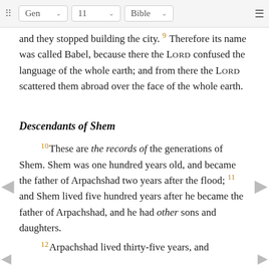Gen  11  Bible
and they stopped building the city. 9 Therefore its name was called Babel, because there the LORD confused the language of the whole earth; and from there the LORD scattered them abroad over the face of the whole earth.
Descendants of Shem
10 These are the records of the generations of Shem. Shem was one hundred years old, and became the father of Arpachshad two years after the flood; 11 and Shem lived five hundred years after he became the father of Arpachshad, and he had other sons and daughters.
12 Arpachshad lived thirty-five years, and